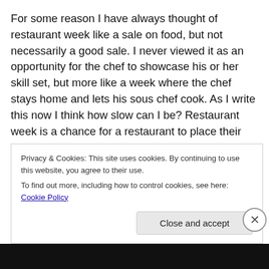For some reason I have always thought of restaurant week like a sale on food, but not necessarily a good sale. I never viewed it as an opportunity for the chef to showcase his or her skill set, but more like a week where the chef stays home and lets his sous chef cook. As I write this now I think how slow can I be? Restaurant week is a chance for a restaurant to place their skills on blast from the first course to the third course. A chance for them to execute in a way they never have before. Its almost like a pressure
Privacy & Cookies: This site uses cookies. By continuing to use this website, you agree to their use.
To find out more, including how to control cookies, see here: Cookie Policy
Close and accept